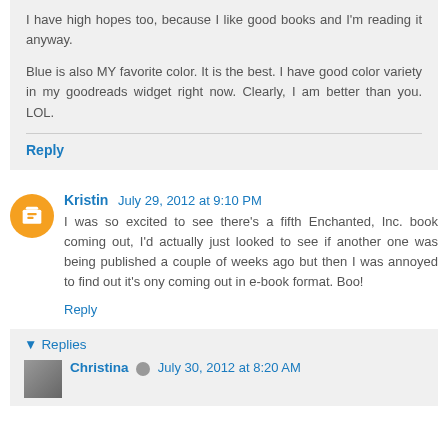I have high hopes too, because I like good books and I'm reading it anyway.

Blue is also MY favorite color. It is the best. I have good color variety in my goodreads widget right now. Clearly, I am better than you. LOL.
Reply
Kristin  July 29, 2012 at 9:10 PM
I was so excited to see there's a fifth Enchanted, Inc. book coming out, I'd actually just looked to see if another one was being published a couple of weeks ago but then I was annoyed to find out it's ony coming out in e-book format. Boo!
Reply
▾  Replies
Christina  July 30, 2012 at 8:20 AM